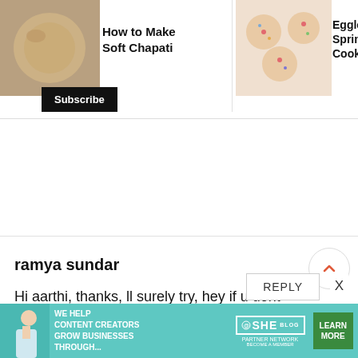[Figure (screenshot): Top navigation bar showing recipe thumbnails: How to Make Soft Chapati, Eggless Sprinkle Cookies, Crispy Dosa Recipe / How to Make C...]
How to Make Soft Chapati
Eggless Sprinkle Cookies...
Crispy Dosa Recipe / H... to Make C...
Subscribe
ramya sundar
Hi aarthi, thanks, ll surely try, hey if u dont mind plz tel me wher u bought tis idly steamer frm.. it looks awesome..
506
REPLY
X
[Figure (screenshot): SHE Partner Network advertisement banner: WE HELP CONTENT CREATORS GROW BUSINESSES THROUGH... with LEARN MORE button]